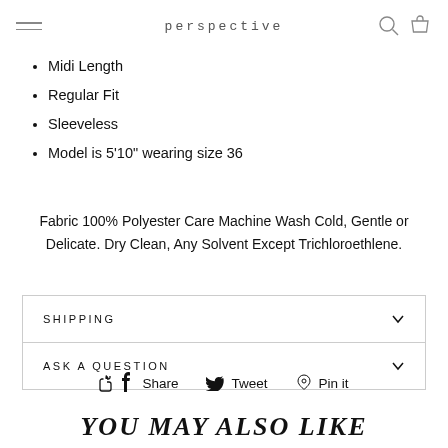perspective
Midi Length
Regular Fit
Sleeveless
Model is 5'10" wearing size 36
Fabric 100% Polyester Care Machine Wash Cold, Gentle or Delicate. Dry Clean, Any Solvent Except Trichloroethlene.
SHIPPING
ASK A QUESTION
Share  Tweet  Pin it
YOU MAY ALSO LIKE